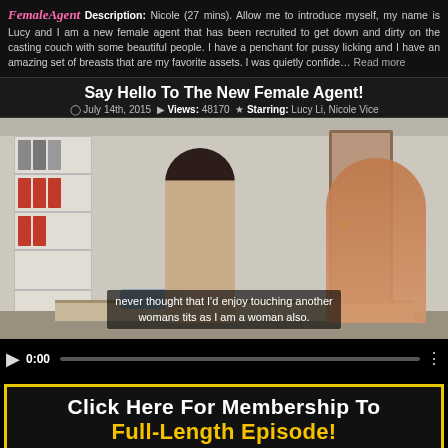FemaleAgent Description: Nicole (27 mins). Allow me to introduce myself, my name is Lucy and I am a new female agent that has been recruited to get down and dirty on the casting couch with some beautiful people. I have a penchant for pussy licking and I have an amazing set of breasts that are my favorite assets. I was quietly confide... Read more
Say Hello To The New Female Agent!
July 14th, 2015 | Views: 48170 | Starring: Lucy Li, Nicole Vice
[Figure (screenshot): Video player showing two women in an office/casting setting. Video controls bar at bottom showing 0:00 timestamp. Subtitle text reads: never thought that I'd enjoy touching another womans tits as I am a woman also.]
Click Here For Membership To Full-Length Episode!